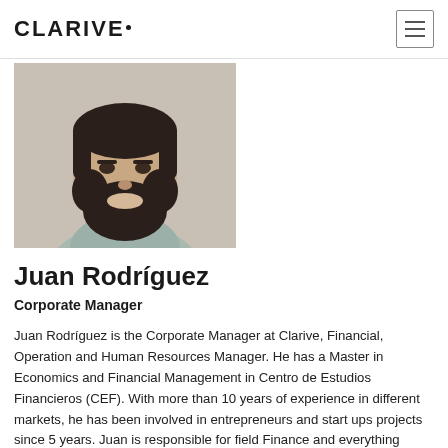CLARIVE.
[Figure (photo): Profile photo of Juan Rodríguez, a bearded man smiling, upper body visible]
Juan Rodríguez
Corporate Manager
Juan Rodríguez is the Corporate Manager at Clarive, Financial, Operation and Human Resources Manager. He has a Master in Economics and Financial Management in Centro de Estudios Financieros (CEF). With more than 10 years of experience in different markets, he has been involved in entrepreneurs and start ups projects since 5 years. Juan is responsible for field Finance and everything involved on the